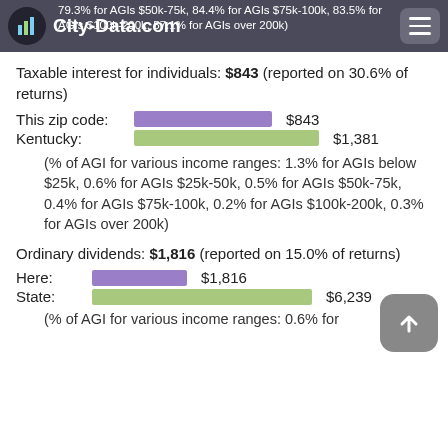City-Data.com | 79.3% for AGIs $50k-75k, 84.4% for AGIs $75k-100k, 83.5% for AGIs $100k-200k, 57.1% for AGIs over 200k)
Taxable interest for individuals: $843 (reported on 30.6% of returns)
This zip code: [bar] $843
Kentucky: [bar] $1,381
(% of AGI for various income ranges: 1.3% for AGIs below $25k, 0.6% for AGIs $25k-50k, 0.5% for AGIs $50k-75k, 0.4% for AGIs $75k-100k, 0.2% for AGIs $100k-200k, 0.3% for AGIs over 200k)
Ordinary dividends: $1,816 (reported on 15.0% of returns)
Here: [bar] $1,816
State: [bar] $6,239
(% of AGI for various income ranges: 0.6% for